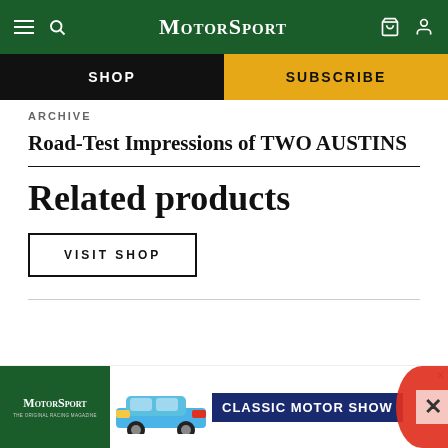MotorSport — SHOP | SUBSCRIBE
ARCHIVE
Road-Test Impressions of TWO AUSTINS
Related products
VISIT SHOP
[Figure (screenshot): MotorSport magazine advertisement with Classic Motor Show banner and blue Porsche 911 image]